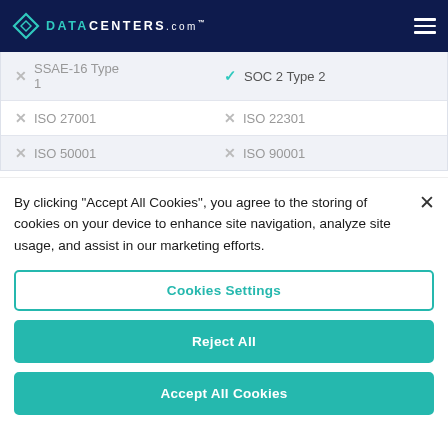DATACENTERS.com
| Certification | Status | Certification | Status |
| --- | --- | --- | --- |
| SSAE-16 Type 1 | ✗ | SOC 2 Type 2 | ✓ |
| ISO 27001 | ✗ | ISO 22301 | ✗ |
| ISO 50001 | ✗ | ISO 90001 | ✗ |
By clicking "Accept All Cookies", you agree to the storing of cookies on your device to enhance site navigation, analyze site usage, and assist in our marketing efforts.
Cookies Settings
Reject All
Accept All Cookies